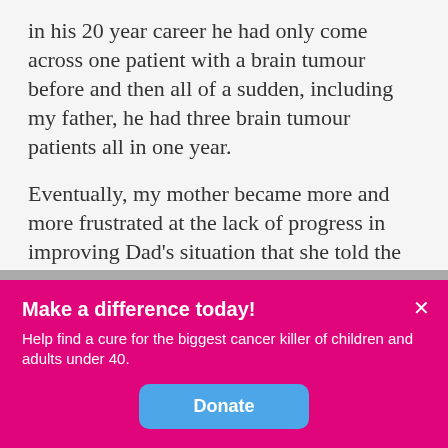in his 20 year career he had only come across one patient with a brain tumour before and then all of a sudden, including my father, he had three brain tumour patients all in one year.
Eventually, my mother became more and more frustrated at the lack of progress in improving Dad’s situation that she told the doctor she wished to go private so that she could have an immediate consultation to discover the root of the problem.  At this point the GP relented and
Make a difference today!
Help find a cure for the biggest cancer killer of children and adults under 40.